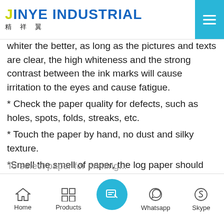JINYE INDUSTRIAL 精祥翼
whiter the better, as long as the pictures and texts are clear, the high whiteness and the strong contrast between the ink marks will cause irritation to the eyes and cause fatigue.
* Check the paper quality for defects, such as holes, spots, folds, streaks, etc.
* Touch the paper by hand, no dust and silky texture.
*Smell the smell of paper, the log paper should have a faint woody smell, not a pungent smell.
*Knead/tear the paper to see if it breaks easily in the process.
Home  Products  Whatsapp  Skype